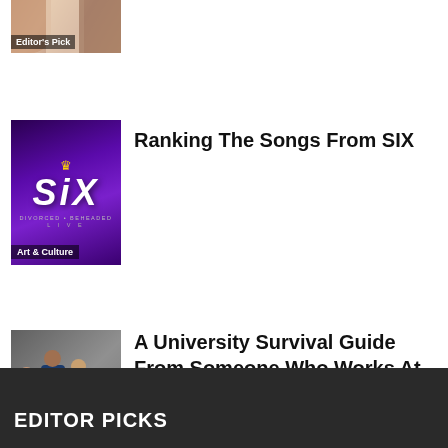[Figure (photo): Partial thumbnail of movie/show with Editor's Pick badge at bottom left]
[Figure (photo): Purple SIX musical thumbnail with Art & Culture badge]
Ranking The Songs From SIX
[Figure (photo): Office scene with people, Career badge at bottom left]
A University Survival Guide From Someone Who Works At A University Help Desk
EDITOR PICKS